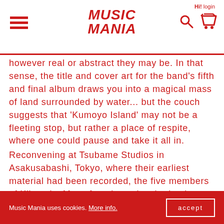Hi! login | MUSIC MANIA
however real or abstract they may be. In that sense, the title and cover art for the band's fifth and final album draws you into a magical mass of land surrounded by water... but the couch suggests that 'Kumoyo Island' may not be a fleeting stop, but rather a place of respite, where one could pause and take it all in.
Reconvening at Tsubame Studios in Asakusabashi, Tokyo, where their earliest material had been recorded, the five members of Kikagaku Moyo found new inspiration in a familiar and comfortable
Music Mania uses cookies. More info. accept